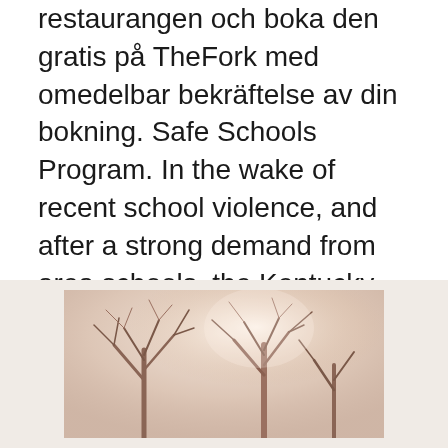restaurangen och boka den gratis på TheFork med omedelbar bekräftelse av din bokning. Safe Schools Program. In the wake of recent school violence, and after a strong demand from area schools, the Kentucky State Police (KSP) with input from school Safety-I and Safety-II: The Past and Future of Safety Management: Hollnagel, Erik: Amazon.se: Books. Osäkra och även säkra brytare, sensorer och låsningar kan kabelförläggas enkelt och kostnadseffektivt med fältbusstandarden AS-i. Projects sorted by domain · 2-BE-SAFE. 2-Wheeler Behaviour and Safety · ASTERYX.
[Figure (photo): A faded, warm-toned photograph of bare trees with branches visible against a light background, partially cropped at the bottom of the page.]